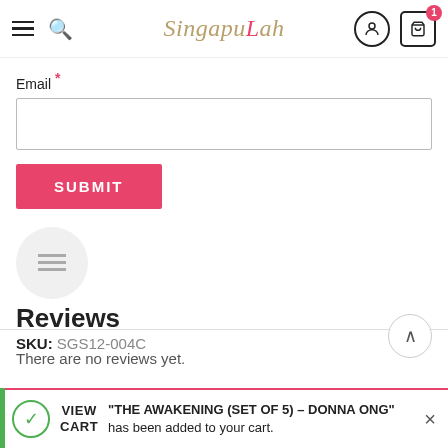SingapuLah
Email *
SUBMIT
Reviews
There are no reviews yet.
SKU: SGS12-004C
VIEW CART "THE AWAKENING (SET OF 5) – DONNA ONG" has been added to your cart.